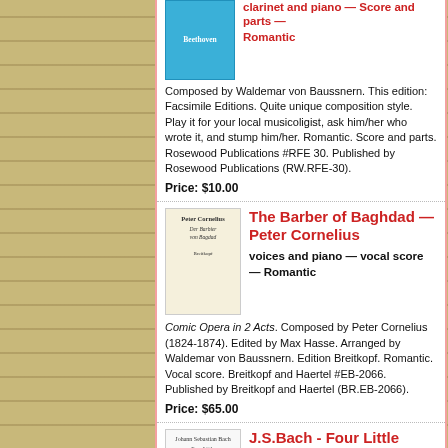clarinet and piano — Score and parts — Romantic
Composed by Waldemar von Baussnern. This edition: Facsimile Editions. Quite unique composition style. Play it for your local musicoligist, ask him/her who wrote it, and stump him/her. Romantic. Score and parts. Rosewood Publications #RFE 30. Published by Rosewood Publications (RW.RFE-30).
Price: $10.00
The Barber of Baghdad — Peter Cornelius
voices and piano — vocal score — Romantic
Comic Opera in 2 Acts. Composed by Peter Cornelius (1824-1874). Edited by Max Hasse. Arranged by Waldemar von Baussnern. Edition Breitkopf. Romantic. Vocal score. Breitkopf and Haertel #EB-2066. Published by Breitkopf and Haertel (BR.EB-2066).
Price: $65.00
J.S.Bach - Four Little Preludes and Fugues for piano — Johann Sebastian Bach